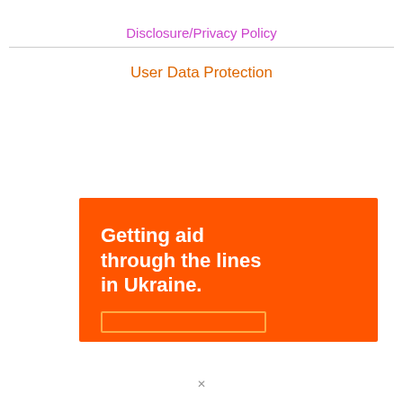Disclosure/Privacy Policy
User Data Protection
[Figure (infographic): Orange banner with bold white text reading 'Getting aid through the lines in Ukraine.' with a partial button outline visible at the bottom.]